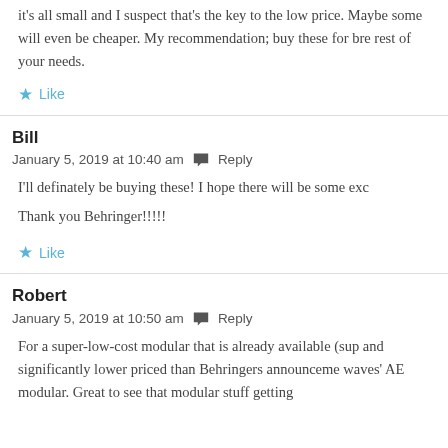it's all small and I suspect that's the key to the low price. Maybe some will even be cheaper. My recommendation; buy these for breakout and maybe use FSR for the rest of your needs.
Like
Bill
January 5, 2019 at 10:40 am  Reply
I'll definately be buying these! I hope there will be some exc
Thank you Behringer!!!!!
Like
Robert
January 5, 2019 at 10:50 am  Reply
For a super-low-cost modular that is already available (sup and significantly lower priced than Behringers announceme waves' AE modular. Great to see that modular stuff getting